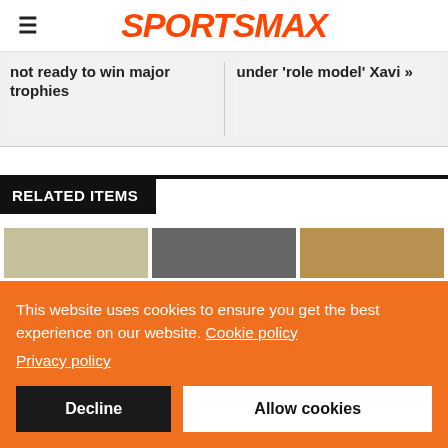SPORTSMAX
not ready to win major trophies
under 'role model' Xavi »
RELATED ITEMS
[Figure (photo): Three sports images in a row]
This website uses cookies to ensure you get the best experience on our website. Cookie policy Privacy policy
Decline   Allow cookies